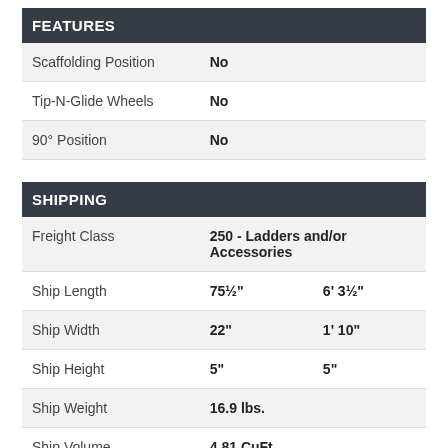| FEATURES |  |
| --- | --- |
| Scaffolding Position | No |
| Tip-N-Glide Wheels | No |
| 90° Position | No |
| SHIPPING |  |
| --- | --- |
| Freight Class | 250 - Ladders and/or Accessories |
| Ship Length | 75½" | 6' 3½" |
| Ship Width | 22" | 1' 10" |
| Ship Height | 5" | 5" |
| Ship Weight | 16.9 lbs. |  |
| Ship Volume | 4.81 CuFt. |  |